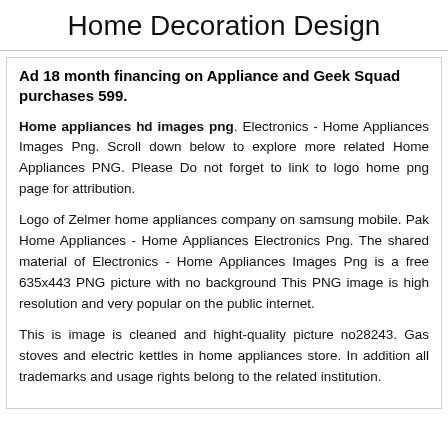Home Decoration Design
Ad 18 month financing on Appliance and Geek Squad purchases 599.
Home appliances hd images png. Electronics - Home Appliances Images Png. Scroll down below to explore more related Home Appliances PNG. Please Do not forget to link to logo home png page for attribution.
Logo of Zelmer home appliances company on samsung mobile. Pak Home Appliances - Home Appliances Electronics Png. The shared material of Electronics - Home Appliances Images Png is a free 635x443 PNG picture with no background This PNG image is high resolution and very popular on the public internet.
This is image is cleaned and hight-quality picture no28243. Gas stoves and electric kettles in home appliances store. In addition all trademarks and usage rights belong to the related institution.